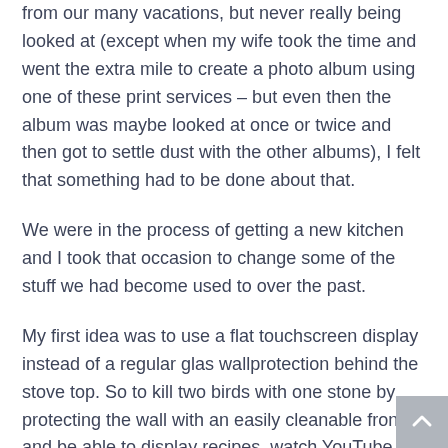from our many vacations, but never really being looked at (except when my wife took the time and went the extra mile to create a photo album using one of these print services – but even then the album was maybe looked at once or twice and then got to settle dust with the other albums), I felt that something had to be done about that.
We were in the process of getting a new kitchen and I took that occasion to change some of the stuff we had become used to over the past.
My first idea was to use a flat touchscreen display instead of a regular glas wallprotection behind the stove top. So to kill two birds with one stone by protecting the wall with an easily cleanable front and be able to display recipes, watch YouTube cooking tips or a slideshow of vacation pictures while cooking and stirring the pots and pans.